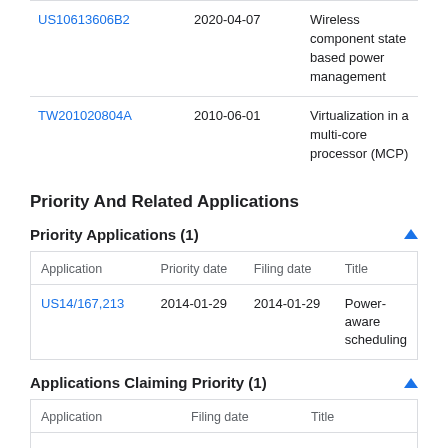|  | Date | Title |
| --- | --- | --- |
| US10613606B2 | 2020-04-07 | Wireless component state based power management |
| TW201020804A | 2010-06-01 | Virtualization in a multi-core processor (MCP) |
Priority And Related Applications
Priority Applications (1)
| Application | Priority date | Filing date | Title |
| --- | --- | --- | --- |
| US14/167,213 | 2014-01-29 | 2014-01-29 | Power-aware scheduling |
Applications Claiming Priority (1)
| Application | Filing date | Title |
| --- | --- | --- |